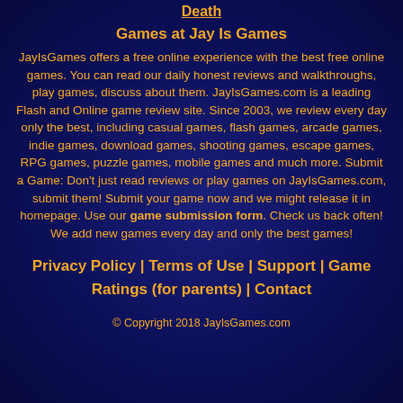Death
Games at Jay Is Games
JayIsGames offers a free online experience with the best free online games. You can read our daily honest reviews and walkthroughs, play games, discuss about them. JayIsGames.com is a leading Flash and Online game review site. Since 2003, we review every day only the best, including casual games, flash games, arcade games, indie games, download games, shooting games, escape games, RPG games, puzzle games, mobile games and much more. Submit a Game: Don't just read reviews or play games on JayIsGames.com, submit them! Submit your game now and we might release it in homepage. Use our game submission form. Check us back often! We add new games every day and only the best games!
Privacy Policy | Terms of Use | Support | Game Ratings (for parents) | Contact
© Copyright 2018 JayIsGames.com